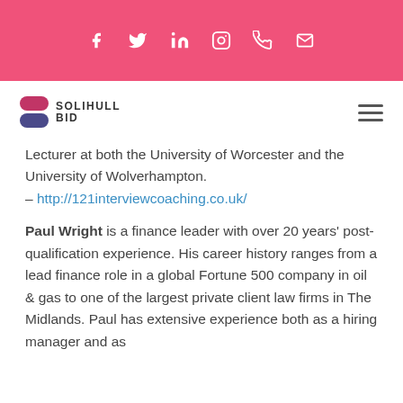Social media icons: Facebook, Twitter, LinkedIn, Instagram, Phone, Email
[Figure (logo): Solihull BID logo with stylized S icon and hamburger menu]
Lecturer at both the University of Worcester and the University of Wolverhampton. – http://121interviewcoaching.co.uk/
Paul Wright is a finance leader with over 20 years' post-qualification experience. His career history ranges from a lead finance role in a global Fortune 500 company in oil & gas to one of the largest private client law firms in The Midlands. Paul has extensive experience both as a hiring manager and as